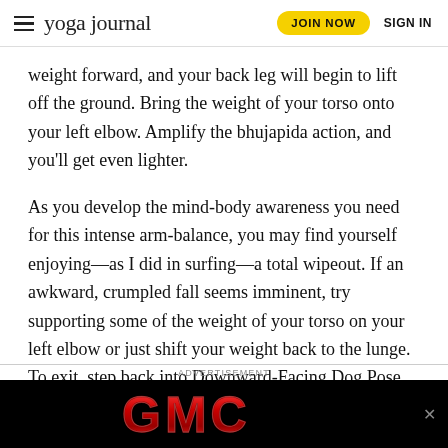yoga journal | JOIN NOW | SIGN IN
weight forward, and your back leg will begin to lift off the ground. Bring the weight of your torso onto your left elbow. Amplify the bhujapida action, and you'll get even lighter.
As you develop the mind-body awareness you need for this intense arm-balance, you may find yourself enjoying—as I did in surfing—a total wipeout. If an awkward, crumpled fall seems imminent, try supporting some of the weight of your torso on your left elbow or just shift your weight back to the lunge. To exit, step back into Downward-Facing Dog Pose or swing the right leg back to Plank Pose and go through a vinyasa. Then step the left foot forward to do the other side.
ADVERTISEMENT
[Figure (logo): GMC logo on black background advertisement banner]